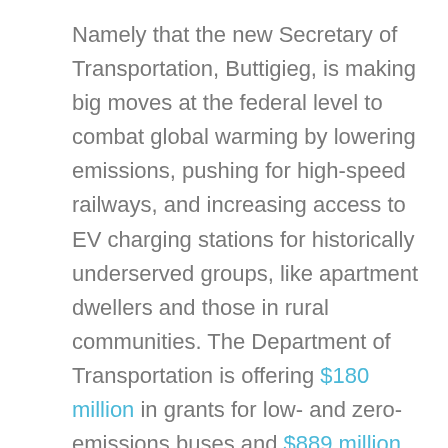Namely that the new Secretary of Transportation, Buttigieg, is making big moves at the federal level to combat global warming by lowering emissions, pushing for high-speed railways, and increasing access to EV charging stations for historically underserved groups, like apartment dwellers and those in rural communities. The Department of Transportation is offering $180 million in grants for low- and zero-emissions buses and $889 million in grants to fund transportation projects with an explicit focus on addressing climate change and racial equity.